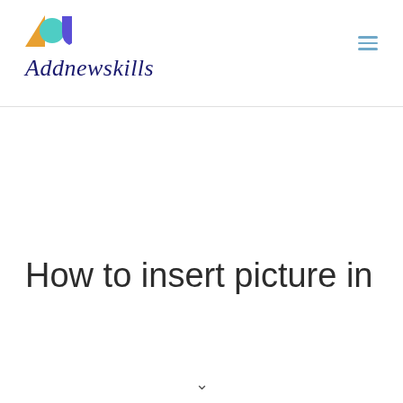Addnewskills
How to insert picture in